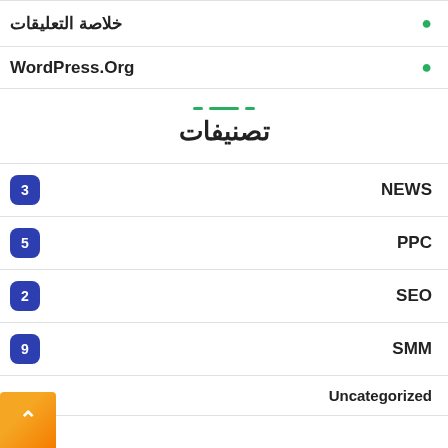خلاصة التعليقات
WordPress.Org
تصنيفات
NEWS 3
PPC 5
SEO 2
SMM 9
Uncategorized